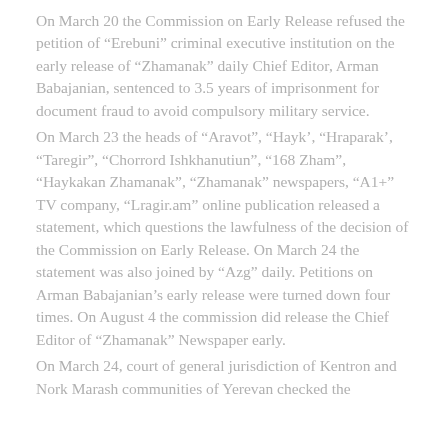On March 20 the Commission on Early Release refused the petition of “Erebuni” criminal executive institution on the early release of “Zhamanak” daily Chief Editor, Arman Babajanian, sentenced to 3.5 years of imprisonment for document fraud to avoid compulsory military service.
On March 23 the heads of “Aravot”, “Hayk’, “Hraparak’, “Taregir”, “Chorrord Ishkhanutiun”, “168 Zham”, “Haykakan Zhamanak”, “Zhamanak” newspapers, “A1+” TV company, “Lragir.am” online publication released a statement, which questions the lawfulness of the decision of the Commission on Early Release. On March 24 the statement was also joined by “Azg” daily. Petitions on Arman Babajanian’s early release were turned down four times. On August 4 the commission did release the Chief Editor of “Zhamanak” Newspaper early.
On March 24, court of general jurisdiction of Kentron and Nork Marash communities of Yerevan checked the